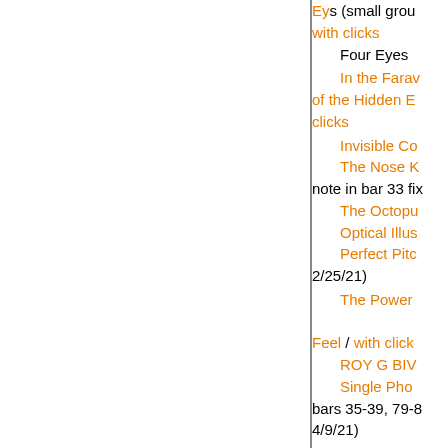Eyes (small group) with clicks
Four Eyes
In the Faraway of the Hidden Eyes / clicks
Invisible Co...
The Nose K... note in bar 33 fix...
The Octopu...
Optical Illus...
Perfect Pitc... 2/25/21)
The Power... Feel / with click...
ROY G BIV...
Single Pho... bars 35-39, 79-8... 4/9/21)
Six Dots (s...
Tinnitus
That's How... are Seen
Topsy Turv... (revised 2/27/21...
Virus, Covi...